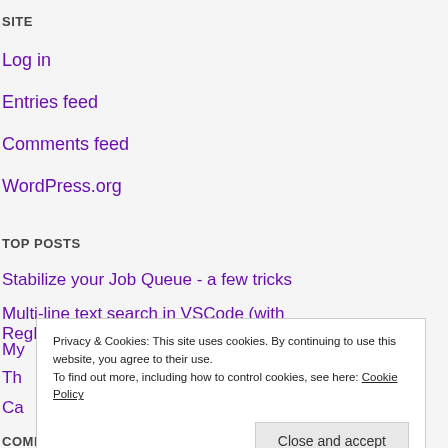SITE
Log in
Entries feed
Comments feed
WordPress.org
TOP POSTS
Stabilize your Job Queue - a few tricks
Multi-line text search in VSCode (with RegEx)
My
Th
Ca
Privacy & Cookies: This site uses cookies. By continuing to use this website, you agree to their use.
To find out more, including how to control cookies, see here: Cookie Policy
Close and accept
COMMUNITIES